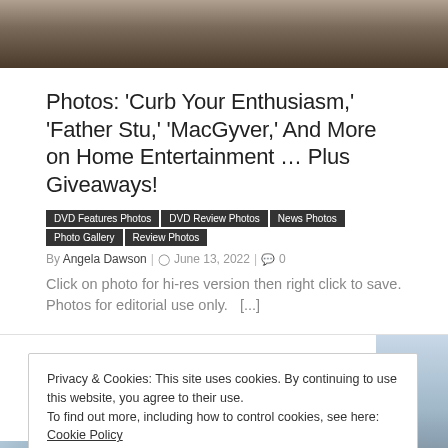[Figure (photo): Partial photo of a person in formal attire at the top of the page]
Photos: ‘Curb Your Enthusiasm,’ ‘Father Stu,’ ‘MacGyver,’ And More on Home Entertainment … Plus Giveaways!
DVD Features Photos
DVD Review Photos
News Photos
Photo Gallery
Review Photos
By Angela Dawson | ● June 13, 2022 | ● 0
Click on photo for hi-res version then right click to save. Photos for editorial use only.   [...]
Privacy & Cookies: This site uses cookies. By continuing to use this website, you agree to their use.
To find out more, including how to control cookies, see here: Cookie Policy
Close and accept